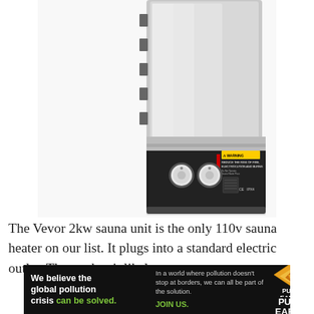[Figure (photo): Close-up photo of a Vevor 2kw sauna heater unit, silver/metallic body with black control panel at bottom showing two white knobs, a warning label reading 'REDUCE THE RISK OF FIRE, ELECTROCUTION AND BURNS', and CE IPX4 certification marks.]
The Vevor 2kw sauna unit is the only 110v sauna heater on our list. It plugs into a standard electric outlet. That makes it likely
[Figure (illustration): Pure Earth advertisement banner on black background. Left side: bold white text 'We believe the global pollution crisis can be solved.' with 'can be solved.' in green. Middle: smaller gray text 'In a world where pollution doesn't stop at borders, we can all be part of the solution.' with green 'JOIN US.' Right side: Pure Earth logo (diamond shape with arrow) and 'PURE EARTH' in white bold text.]